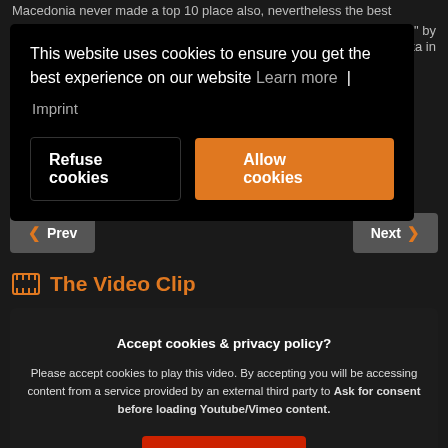Macedonia never made a top 10 place also, nevertheless the best " by ska in
[Figure (screenshot): Cookie consent banner popup with black background. Text: 'This website uses cookies to ensure you get the best experience on our website Learn more | Imprint'. Two buttons: 'Refuse cookies' (white text on black) and 'Allow cookies' (white text on orange).]
❮ Prev
Next ❯
🎬 The Video Clip
[Figure (screenshot): Video embed area with dark background. Title: 'Accept cookies & privacy policy?'. Body: 'Please accept cookies to play this video. By accepting you will be accessing content from a service provided by an external third party to Ask for consent before loading Youtube/Vimeo content.' Button: 'Accept cookies' (red).]